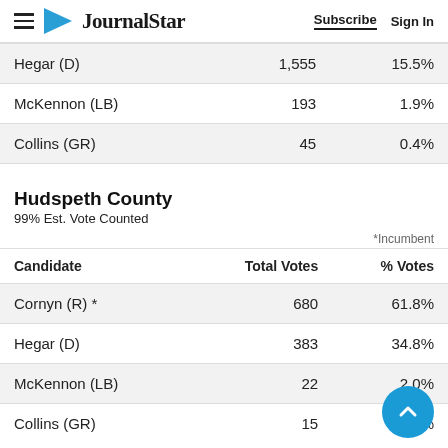JournalStar | Subscribe | Sign In
| Candidate | Total Votes | % Votes |
| --- | --- | --- |
| Hegar (D) | 1,555 | 15.5% |
| McKennon (LB) | 193 | 1.9% |
| Collins (GR) | 45 | 0.4% |
Hudspeth County
99% Est. Vote Counted
*Incumbent
| Candidate | Total Votes | % Votes |
| --- | --- | --- |
| Cornyn (R) * | 680 | 61.8% |
| Hegar (D) | 383 | 34.8% |
| McKennon (LB) | 22 | 2.0% |
| Collins (GR) | 15 | 1.4% |